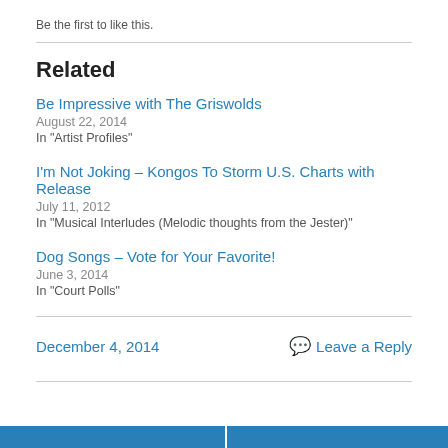Be the first to like this.
Related
Be Impressive with The Griswolds
August 22, 2014
In "Artist Profiles"
I'm Not Joking – Kongos To Storm U.S. Charts with Release
July 11, 2012
In "Musical Interludes (Melodic thoughts from the Jester)"
Dog Songs – Vote for Your Favorite!
June 3, 2014
In "Court Polls"
December 4, 2014    Leave a Reply